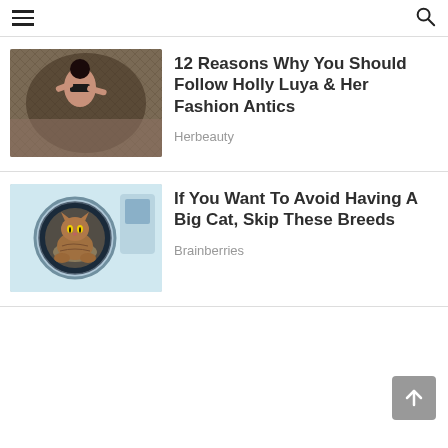Navigation menu and search icon
[Figure (photo): Woman in black bikini lying in a hammock outdoors]
12 Reasons Why You Should Follow Holly Luya & Her Fashion Antics
Herbeauty
[Figure (photo): A brown cat sitting inside a washing machine drum]
If You Want To Avoid Having A Big Cat, Skip These Breeds
Brainberries